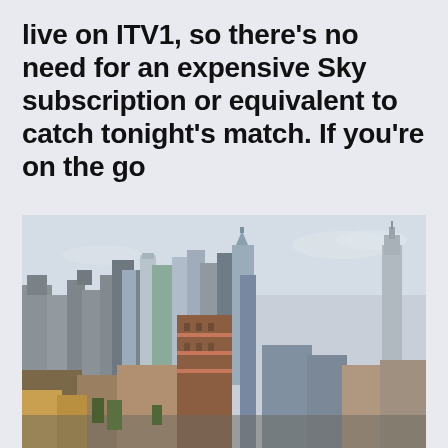live on ITV1, so there's no need for an expensive Sky subscription or equivalent to catch tonight's match. If you're on the go
[Figure (photo): Aerial photograph of a dense urban skyline, showing numerous skyscrapers and high-rise buildings. A prominent brick-colored tower is visible in the center foreground, with taller glass and steel skyscrapers in the background. The scene resembles midtown Manhattan, New York City.]